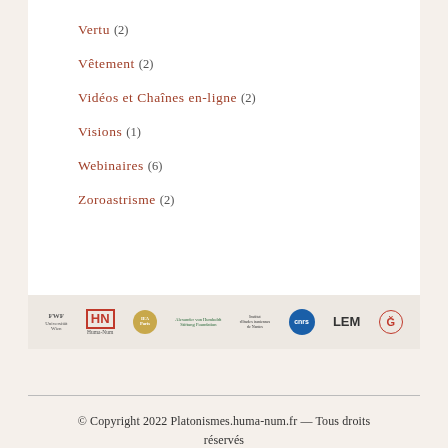Vertu (2)
Vêtement (2)
Vidéos et Chaînes en-ligne (2)
Visions (1)
Webinaires (6)
Zoroastrisme (2)
[Figure (logo): Row of institutional logos: FWF/Universität Wien, Huma-Num, IEA, Alexander von Humboldt Stiftung, Institut d'études iraniennes de Nantes, CNRS, LEM, GJP]
© Copyright 2022 Platonismes.huma-num.fr — Tous droits réservés